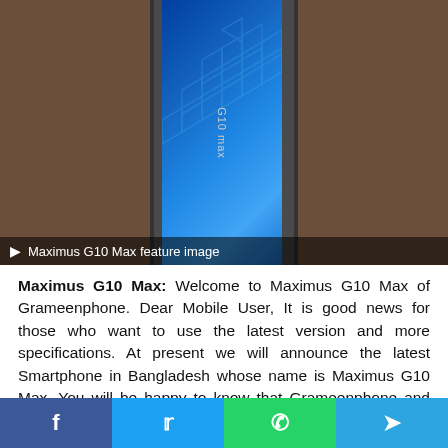[Figure (photo): Maximus G10 Max smartphone product image on brown/grey background with blue screen showing hexagonal pattern]
Maximus G10 Max feature image
Maximus G10 Max: Welcome to Maximus G10 Max of Grameenphone. Dear Mobile User, It is good news for those who want to use the latest version and more specifications. At present we will announce the latest Smartphone in Bangladesh whose name is Maximus G10 Max. You will be happy to know that Grameenphone and Maximus both have launched this Smartphone jointly. The Smartphone released in early September 2021. This is a big advantage of this phone; GP Users can use GP VOLTE Network on this Smartphone. Any Customer can buy this smartphone anywhere in Bangladesh but if you buy this smartphone from a GP shop